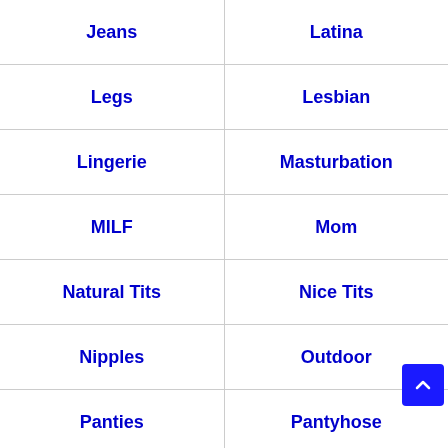| Jeans | Latina |
| Legs | Lesbian |
| Lingerie | Masturbation |
| MILF | Mom |
| Natural Tits | Nice Tits |
| Nipples | Outdoor |
| Panties | Pantyhose |
| Petite | Piercing |
| Pool | Porn Videos |
| Pornstar | Public |